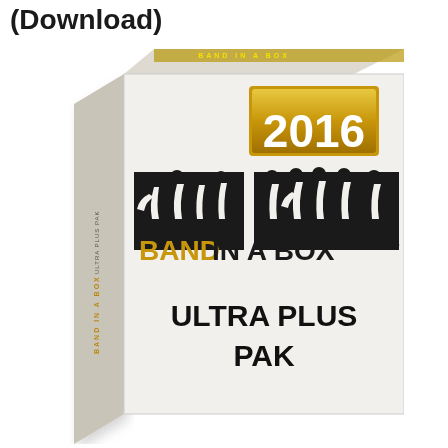(Download)
[Figure (photo): Band-in-a-Box 2016 Ultra Plus Pak software box. White box with gold '2016' badge, Band-in-a-Box logo with musician silhouettes, text 'ULTRA PLUS PAK' on the front.]